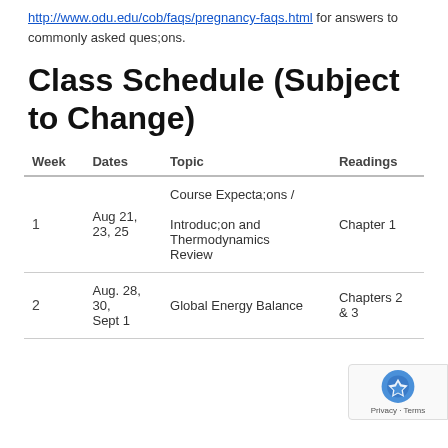http://www.odu.edu/cob/faqs/pregnancy-faqs.html for answers to commonly asked ques;ons.
Class Schedule (Subject to Change)
| Week | Dates | Topic | Readings |
| --- | --- | --- | --- |
| 1 | Aug 21, 23, 25 | Course Expecta;ons / Introduc;on and Thermodynamics Review | Chapter 1 |
| 2 | Aug. 28, 30, Sept 1 | Global Energy Balance | Chapters 2 & 3 |